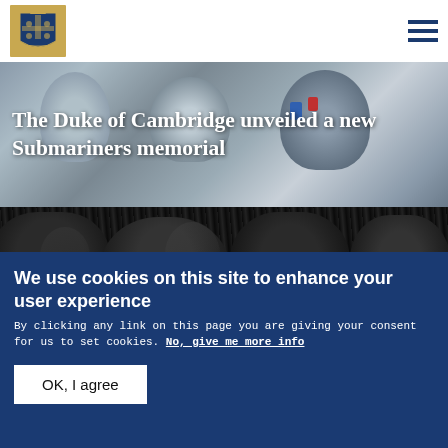[Royal Crest Logo] [Hamburger menu icon]
[Figure (photo): Photo background with text overlay showing crowds at a memorial ceremony. Top half shows people in background with blurred/muted tones; bottom half shows dark fur hats of ceremonial guards.]
The Duke of Cambridge unveiled a new Submariners memorial
We use cookies on this site to enhance your user experience
By clicking any link on this page you are giving your consent for us to set cookies. No, give me more info
OK, I agree